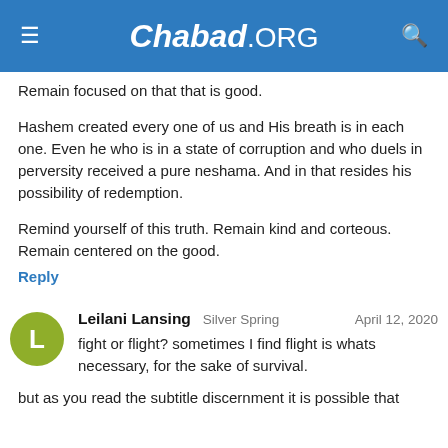Chabad.ORG
Remain focused on that that is good.
Hashem created every one of us and His breath is in each one. Even he who is in a state of corruption and who duels in perversity received a pure neshama. And in that resides his possibility of redemption.
Remind yourself of this truth. Remain kind and corteous. Remain centered on the good.
Reply
Leilani Lansing Silver Spring April 12, 2020
fight or flight? sometimes I find flight is whats necessary, for the sake of survival.
but as you read the subtitle discernment it is possible that